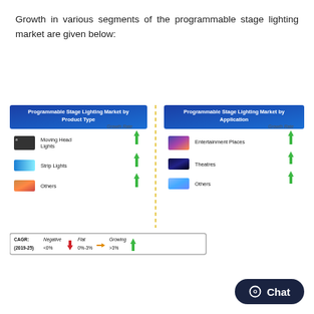Growth in various segments of the programmable stage lighting market are given below:
[Figure (infographic): Two side-by-side infographic panels showing Programmable Stage Lighting Market growth rates. Left panel: 'Programmable Stage Lighting Market by Product Type' with items Moving Head Lights, Strip Lights, Others — all with upward green arrows. Right panel: 'Programmable Stage Lighting Market by Application' with items Entertainment Places, Theatres, Others — all with upward green arrows. Separated by a dashed yellow/gold vertical line. Legend at bottom: CAGR (2019-25): Negative <0% (red down arrow), Flat 0%-3% (orange right arrow), Growing >3% (green up arrow).]